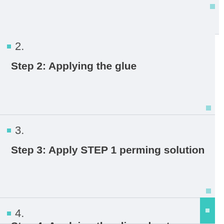2. Step 2: Applying the glue
3. Step 3: Apply STEP 1 perming solution
4. Step 4: Applying the cling sheet